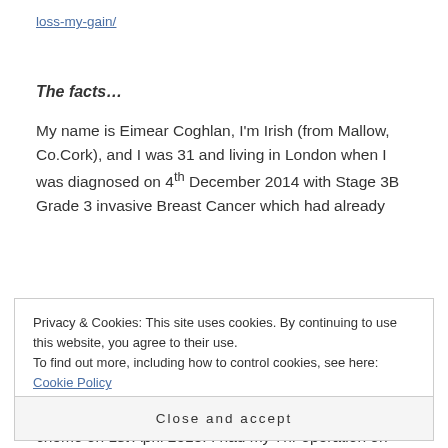loss-my-gain/
The facts…
My name is Eimear Coghlan, I'm Irish (from Mallow, Co.Cork), and I was 31 and living in London when I was diagnosed on 4th December 2014 with Stage 3B Grade 3 invasive Breast Cancer which had already
Privacy & Cookies: This site uses cookies. By continuing to use this website, you agree to their use.
To find out more, including how to control cookies, see here: Cookie Policy
Close and accept
chemo on 1st April 2015. I had my 7hr operation on